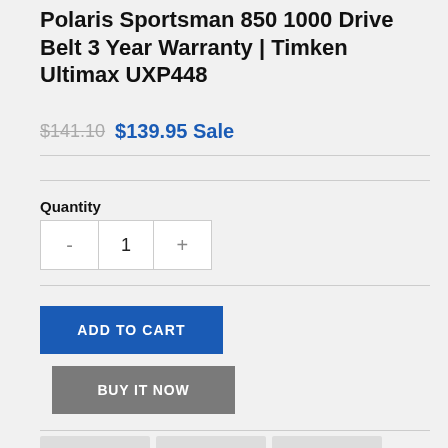Polaris Sportsman 850 1000 Drive Belt 3 Year Warranty | Timken Ultimax UXP448
$141.10  $139.95 Sale
Quantity
- 1 +
ADD TO CART
BUY IT NOW